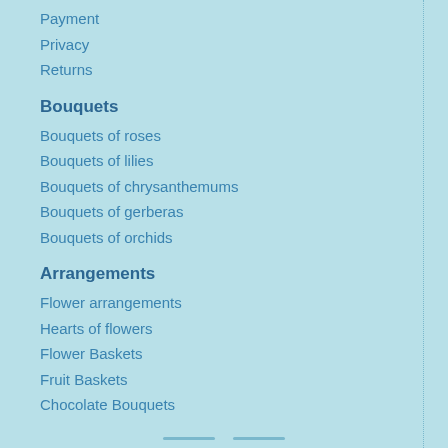Payment
Privacy
Returns
Bouquets
Bouquets of roses
Bouquets of lilies
Bouquets of chrysanthemums
Bouquets of gerberas
Bouquets of orchids
Arrangements
Flower arrangements
Hearts of flowers
Flower Baskets
Fruit Baskets
Chocolate Bouquets